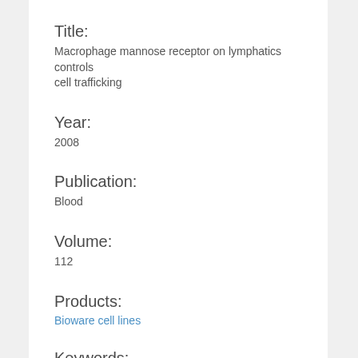Title:
Macrophage mannose receptor on lymphatics controls cell trafficking
Year:
2008
Publication:
Blood
Volume:
112
Products:
Bioware cell lines
Keywords: